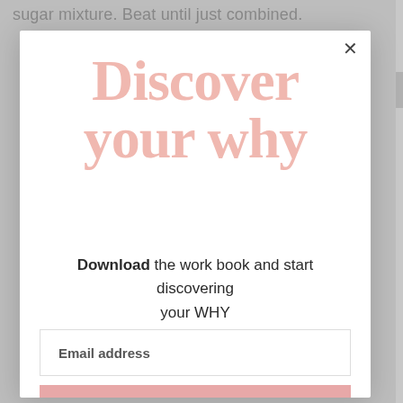sugar mixture. Beat until just combined.
Discover your why
Download the work book and start discovering your WHY and defining your BRAND in just 5 days!
Email address
Subscribe